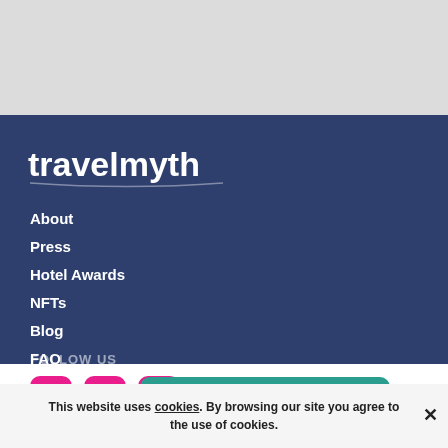[Figure (logo): Travelmyth logo in white text on dark blue background]
About
Press
Hotel Awards
NFTs
Blog
FAQ
Contact
FOLLOW US
[Figure (infographic): Social media icons (Instagram, Facebook, another) and a teal Categories button with badge showing 1]
This website uses cookies. By browsing our site you agree to the use of cookies.